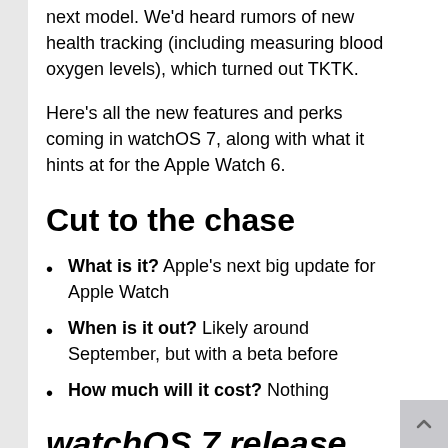next model. We'd heard rumors of new health tracking (including measuring blood oxygen levels), which turned out TKTK.
Here's all the new features and perks coming in watchOS 7, along with what it hints at for the Apple Watch 6.
Cut to the chase
What is it? Apple's next big update for Apple Watch
When is it out? Likely around September, but with a beta before
How much will it cost? Nothing
watchOS 7 release